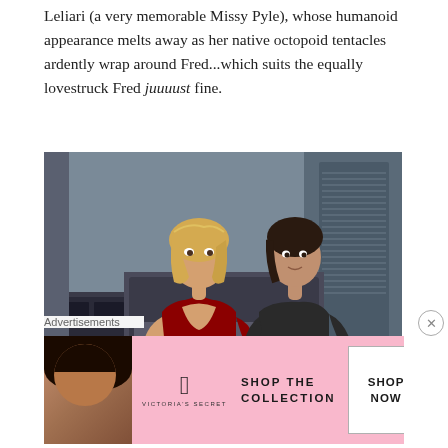Leliari (a very memorable Missy Pyle), whose humanoid appearance melts away as her native octopoid tentacles ardently wrap around Fred...which suits the equally lovestruck Fred juuuust fine.
[Figure (photo): Two actors in a sci-fi setting: a blonde woman in a red uniform and a man in a black t-shirt looking at a control console]
Advertisements
[Figure (illustration): Victoria's Secret advertisement banner with model, VS logo, text 'SHOP THE COLLECTION' and 'SHOP NOW' button]